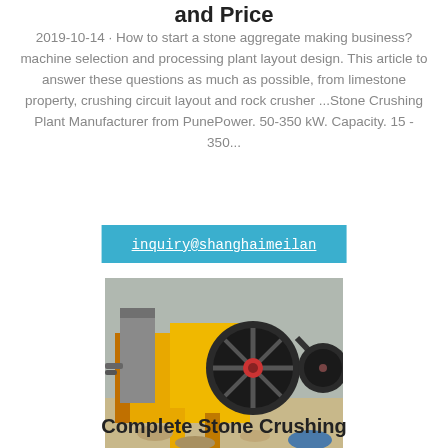and Price
2019-10-14 · How to start a stone aggregate making business? machine selection and processing plant layout design. This article to answer these questions as much as possible, from limestone property, crushing circuit layout and rock crusher ...Stone Crushing Plant Manufacturer from PunePower. 50-350 kW. Capacity. 15 - 350...
inquiry@shanghaimeilan
[Figure (photo): Industrial jaw crusher machine with yellow frame and large black belt pulley, used in stone crushing plant.]
Complete Stone Crushing